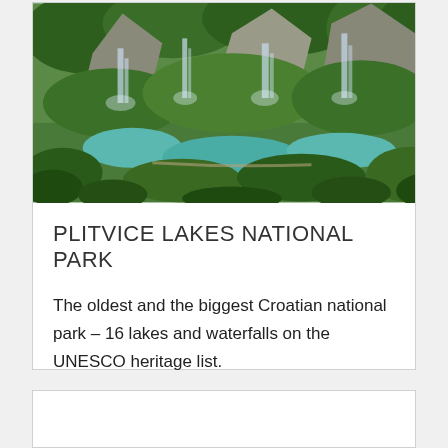[Figure (photo): Aerial view of Plitvice Lakes National Park showing cascading waterfalls, turquoise lakes, and lush green forests with limestone cliffs]
PLITVICE LAKES NATIONAL PARK
The oldest and the biggest Croatian national park – 16 lakes and waterfalls on the UNESCO heritage list.